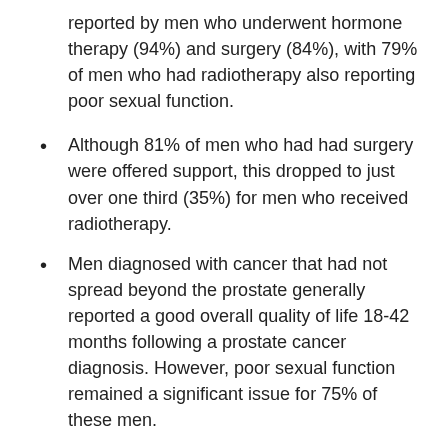reported by men who underwent hormone therapy (94%) and surgery (84%), with 79% of men who had radiotherapy also reporting poor sexual function.
Although 81% of men who had had surgery were offered support, this dropped to just over one third (35%) for men who received radiotherapy.
Men diagnosed with cancer that had not spread beyond the prostate generally reported a good overall quality of life 18-42 months following a prostate cancer diagnosis. However, poor sexual function remained a significant issue for 75% of these men.